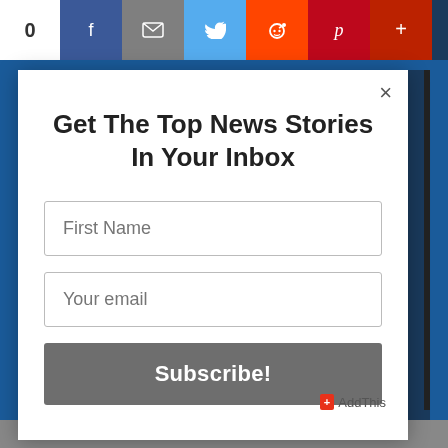[Figure (screenshot): Social sharing bar at top with count 0 and icons for Facebook, Email, Twitter, Reddit, Pinterest, and more]
Get The Top News Stories In Your Inbox
[Figure (screenshot): Email subscription form with First Name field, Your email field, and Subscribe! button]
AddThis